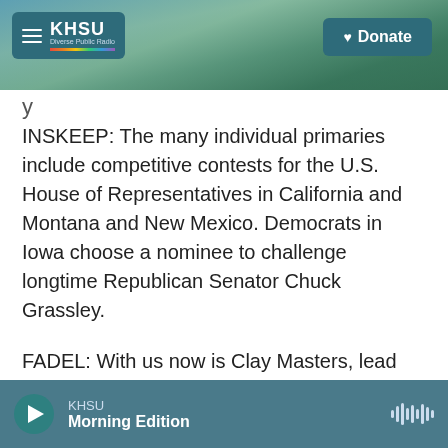KHSU — Donate
INSKEEP: The many individual primaries include competitive contests for the U.S. House of Representatives in California and Montana and New Mexico. Democrats in Iowa choose a nominee to challenge longtime Republican Senator Chuck Grassley.
FADEL: With us now is Clay Masters, lead political reporter at Iowa Public Radio. Thanks for being here.
CLAY MASTERS, BYLINE: Yeah, of course.
KHSU Morning Edition